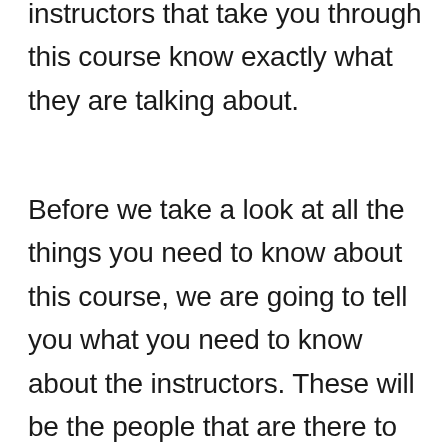instructors that take you through this course know exactly what they are talking about.
Before we take a look at all the things you need to know about this course, we are going to tell you what you need to know about the instructors. These will be the people that are there to guide you through the course, and they are often able to provide step-by-step instructions along